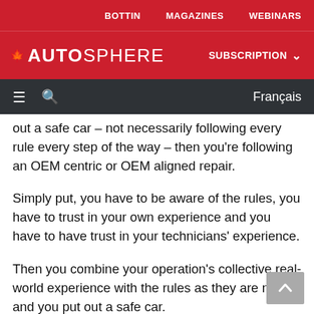BOTTIN   MAGAZINES   WEBINARS
[Figure (logo): AUTOSPHERE logo in white on red background with maple leaf, and SUBSCRIPTION dropdown nav]
☰  🔍  Français
out a safe car – not necessarily following every rule every step of the way – then you're following an OEM centric or OEM aligned repair.
Simply put, you have to be aware of the rules, you have to trust in your own experience and you have to have trust in your technicians' experience.
Then you combine your operation's collective real-world experience with the rules as they are now, and you put out a safe car.
And you have to be ready to evolve. Vehicle